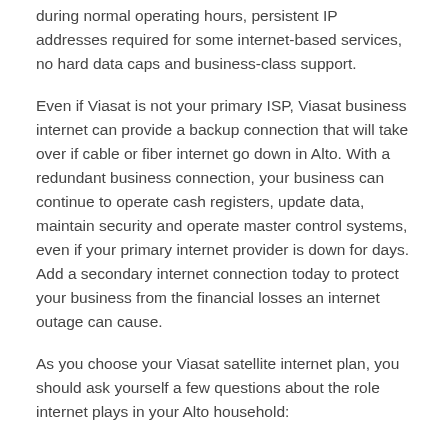during normal operating hours, persistent IP addresses required for some internet-based services, no hard data caps and business-class support.
Even if Viasat is not your primary ISP, Viasat business internet can provide a backup connection that will take over if cable or fiber internet go down in Alto. With a redundant business connection, your business can continue to operate cash registers, update data, maintain security and operate master control systems, even if your primary internet provider is down for days. Add a secondary internet connection today to protect your business from the financial losses an internet outage can cause.
As you choose your Viasat satellite internet plan, you should ask yourself a few questions about the role internet plays in your Alto household:
Who will use the internet, and what are their internet usage habits?